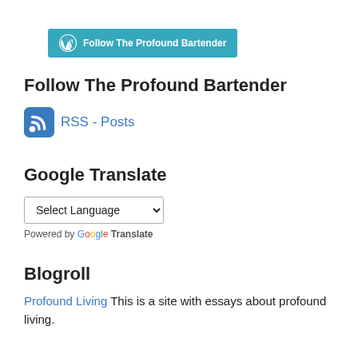[Figure (logo): WordPress follow button bar with text 'Follow The Profound Bartender']
Follow The Profound Bartender
[Figure (logo): RSS feed icon (blue square with white wifi/rss symbol) linked to RSS - Posts]
RSS - Posts
Google Translate
[Figure (screenshot): Select Language dropdown widget]
Powered by Google Translate
Blogroll
Profound Living This is a site with essays about profound living.